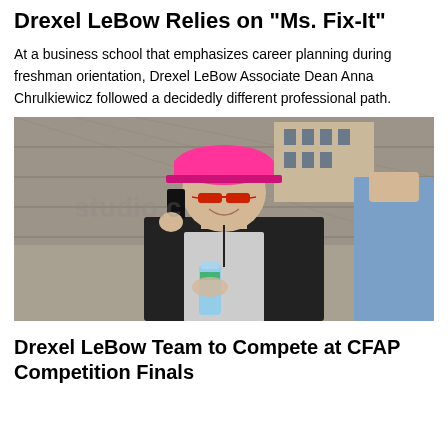Drexel LeBow Relies on "Ms. Fix-It"
At a business school that emphasizes career planning during freshman orientation, Drexel LeBow Associate Dean Anna Chrulkiewicz followed a decidedly different professional path.
[Figure (photo): Woman wearing a bright pink hard hat and red glasses, talking on a cell phone and holding a water bottle, standing in front of a chain-link fence at a construction site. Another person in a blue shirt is partially visible on the right.]
Drexel LeBow Team to Compete at CFAP Competition Finals